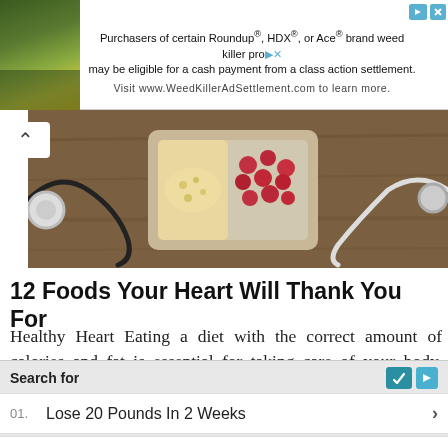[Figure (other): Advertisement banner for Roundup, HDX, or Ace brand weed killer class action settlement. Text reads: Purchasers of certain Roundup®, HDX®, or Ace® brand weed killer products may be eligible for a cash payment from a class action settlement. Visit www.WeedKillerAdSettlement.com to learn more.]
[Figure (photo): Hero image showing a bowl of healthy foods (cranberries, grains) with a stethoscope on a wooden surface, illustrating heart-healthy eating.]
12 Foods Your Heart Will Thank You For
Healthy Heart Eating a diet with the correct amount of calories and fat is essential for taking care of your body. Some foods are particularly beneficial for it because of
[Figure (other): Sponsored search widget from Yahoo! Search with two items: 01. Lose 20 Pounds In 2 Weeks, 02. 10 Easy Breakfast Ideas]